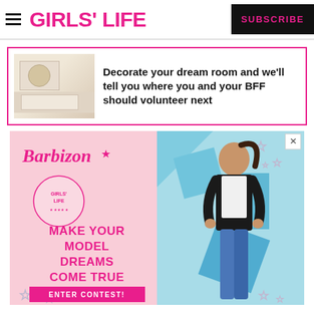GIRLS' LIFE | SUBSCRIBE
Decorate your dream room and we'll tell you where you and your BFF should volunteer next
[Figure (photo): Barbizon x Girls' Life advertisement: pink background with stars, Barbizon script logo with Girls' Life badge, text 'MAKE YOUR MODEL DREAMS COME TRUE', 'ENTER CONTEST!' button in pink, and a young woman model in jeans and black jacket posing against a teal/blue geometric backdrop]